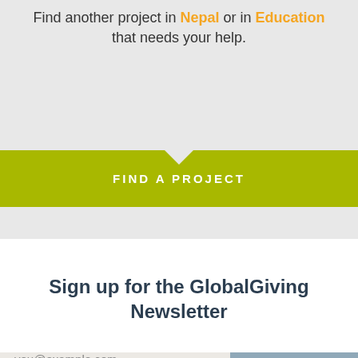Find another project in Nepal or in Education that needs your help.
FIND A PROJECT
Sign up for the GlobalGiving Newsletter
you@example.com
SUBSCRIBE